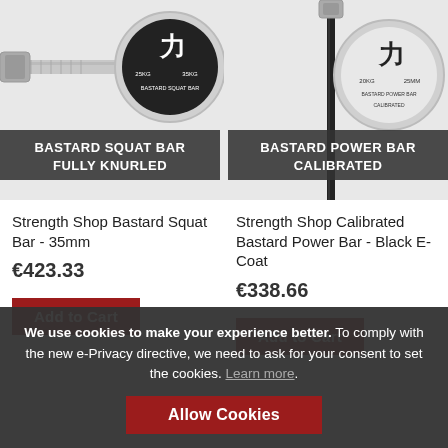[Figure (photo): Strength Shop Bastard Squat Bar product image with dark overlay label reading BASTARD SQUAT BAR FULLY KNURLED]
[Figure (photo): Strength Shop Calibrated Bastard Power Bar Black E-Coat product image with dark overlay label reading BASTARD POWER BAR CALIBRATED]
Strength Shop Bastard Squat Bar - 35mm
€423.33
Add to Cart
Strength Shop Calibrated Bastard Power Bar - Black E-Coat
€338.66
Add to Cart
We use cookies to make your experience better. To comply with the new e-Privacy directive, we need to ask for your consent to set the cookies. Learn more.
Allow Cookies